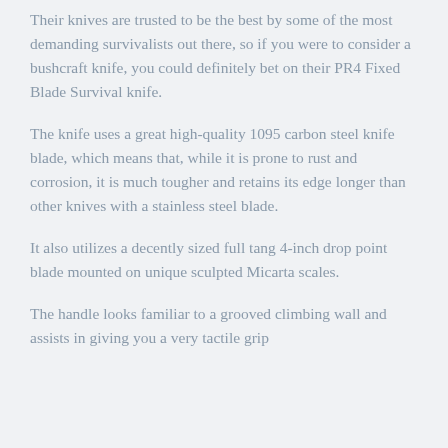Their knives are trusted to be the best by some of the most demanding survivalists out there, so if you were to consider a bushcraft knife, you could definitely bet on their PR4 Fixed Blade Survival knife.
The knife uses a great high-quality 1095 carbon steel knife blade, which means that, while it is prone to rust and corrosion, it is much tougher and retains its edge longer than other knives with a stainless steel blade.
It also utilizes a decently sized full tang 4-inch drop point blade mounted on unique sculpted Micarta scales.
The handle looks familiar to a grooved climbing wall and assists in giving you a very tactile grip